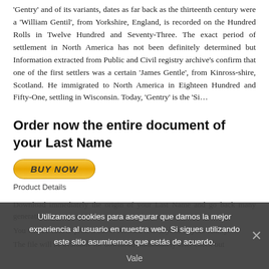'Gentry' and of its variants, dates as far back as the thirteenth century were a 'William Gentil', from Yorkshire, England, is recorded on the Hundred Rolls in Twelve Hundred and Seventy-Three. The exact period of settlement in North America has not been definitely determined but Information extracted from Public and Civil registry archive's confirm that one of the first settlers was a certain 'James Gentle', from Kinross-shire, Scotland. He immigrated to North America in Eighteen Hundred and Fifty-One, settling in Wisconsin. Today, 'Gentry' is the 'Si...
Order now the entire document of your Last Name
[Figure (other): Yellow 'BUY NOW' PayPal-style button with italic bold text]
Product Details
Download immediately the origin of your Last Name and go back many generations.
You will be able to print it out or forward it to anyone in your family.
The file will be available for download immediately after check out
Utilizamos cookies para asegurar que damos la mejor experiencia al usuario en nuestra web. Si sigues utilizando este sitio asumiremos que estás de acuerdo.
Vale